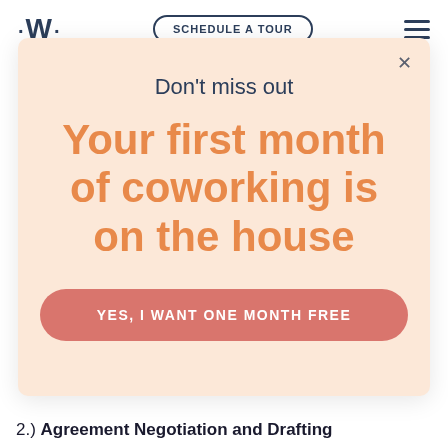[Figure (screenshot): Website navigation bar with logo (·W·), a 'SCHEDULE A TOUR' button, and a hamburger menu icon]
[Figure (screenshot): Modal popup with peach/salmon background showing promotional offer: 'Don't miss out' heading, 'Your first month of coworking is on the house' in orange, and a 'YES, I WANT ONE MONTH FREE' call-to-action button in rose/red color. An X close button is in the top-right corner.]
2.) Agreement Negotiation and Drafting